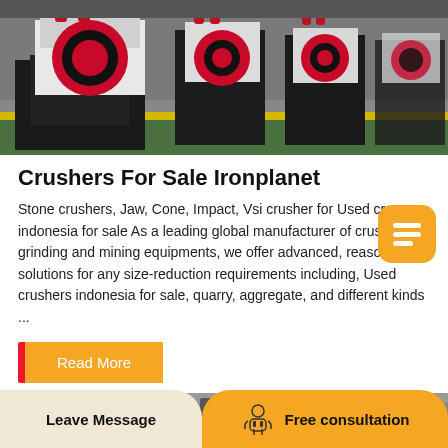[Figure (photo): Industrial stone crushers lined up in a factory/warehouse with green floor and yellow line markings. Machines are white/black with red circular components.]
Crushers For Sale Ironplanet
Stone crushers, Jaw, Cone, Impact, Vsi crusher for Used crushers indonesia for sale As a leading global manufacturer of crushing, grinding and mining equipments, we offer advanced, reasonable solutions for any size-reduction requirements including, Used crushers indonesia for sale, quarry, aggregate, and different kinds ...
Read More
[Figure (photo): Partial view of industrial machinery at the bottom of page.]
Leave Message
Free consultation